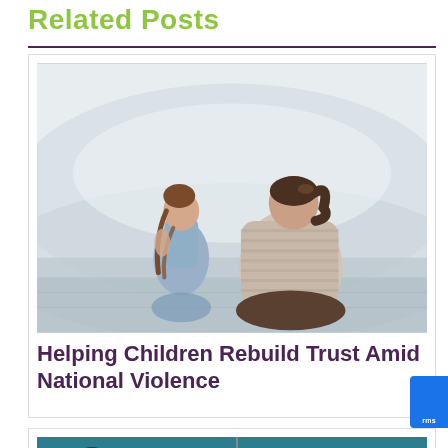Related Posts
[Figure (photo): A woman and a young girl sitting with their backs to the camera on what appears to be a wooden deck or step. The woman has dark hair in a ponytail and wears a striped shirt; the girl has braided hair and wears a blue dress. The background is bright and blurred outdoors.]
Helping Children Rebuild Trust Amid National Violence
[Figure (photo): Partial view of a nursery or child's room with teal/blue walls, a hanging mobile, and a person with brown hair in a bun seen from behind.]